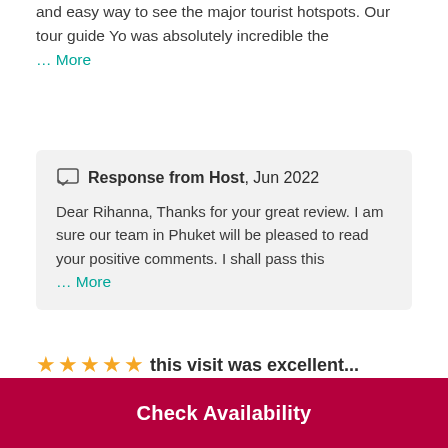and easy way to see the major tourist hotspots. Our tour guide Yo was absolutely incredible the … More
Response from Host, Jun 2022
Dear Rihanna, Thanks for your great review. I am sure our team in Phuket will be pleased to read your positive comments. I shall pass this … More
⭐⭐⭐⭐⭐ this visit was excellent...
Narjiss_O, Jun 2022
this visit was excellent at first thanks to our guide
Check Availability